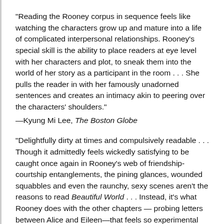“Reading the Rooney corpus in sequence feels like watching the characters grow up and mature into a life of complicated interpersonal relationships. Rooney’s special skill is the ability to place readers at eye level with her characters and plot, to sneak them into the world of her story as a participant in the room . . . She pulls the reader in with her famously unadorned sentences and creates an intimacy akin to peering over the characters’ shoulders.”
—Kyung Mi Lee, The Boston Globe
“Delightfully dirty at times and compulsively readable . . . Though it admittedly feels wickedly satisfying to be caught once again in Rooney’s web of friendship-courtship entanglements, the pining glances, wounded squabbles and even the raunchy, sexy scenes aren’t the reasons to read Beautiful World . . . Instead, it’s what Rooney does with the other chapters — probing letters between Alice and Eileen—that feels so experimental and exciting.”
—Alexis Burling, San Francisco Chronicle
“In failing to look for the notion in these books, we fail to see